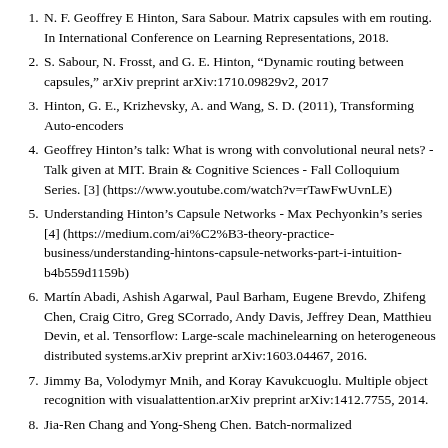N. F. Geoffrey E Hinton, Sara Sabour. Matrix capsules with em routing. In International Conference on Learning Representations, 2018.
S. Sabour, N. Frosst, and G. E. Hinton, “Dynamic routing between capsules,” arXiv preprint arXiv:1710.09829v2, 2017
Hinton, G. E., Krizhevsky, A. and Wang, S. D. (2011), Transforming Auto-encoders
Geoffrey Hinton’s talk: What is wrong with convolutional neural nets? - Talk given at MIT. Brain & Cognitive Sciences - Fall Colloquium Series. [3] (https://www.youtube.com/watch?v=rTawFwUvnLE)
Understanding Hinton’s Capsule Networks - Max Pechyonkin’s series [4] (https://medium.com/ai%C2%B3-theory-practice-business/understanding-hintons-capsule-networks-part-i-intuition-b4b559d1159b)
Martín Abadi, Ashish Agarwal, Paul Barham, Eugene Brevdo, Zhifeng Chen, Craig Citro, Greg SCorrado, Andy Davis, Jeffrey Dean, Matthieu Devin, et al. Tensorflow: Large-scale machinelearning on heterogeneous distributed systems.arXiv preprint arXiv:1603.04467, 2016.
Jimmy Ba, Volodymyr Mnih, and Koray Kavukcuoglu. Multiple object recognition with visualattention.arXiv preprint arXiv:1412.7755, 2014.
Jia-Ren Chang and Yong-Sheng Chen. Batch-normalized